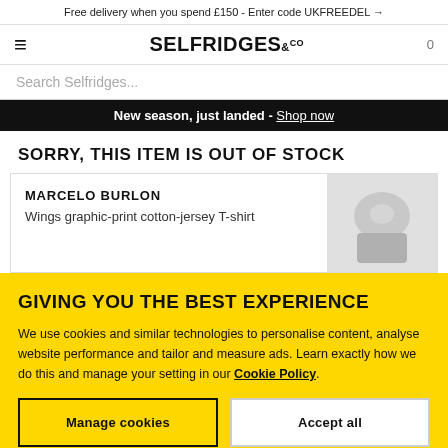Free delivery when you spend £150 - Enter code UKFREEDEL →
[Figure (logo): Selfridges & Co logo with hamburger menu icon and cart icon showing 0]
Search Selfridges...
New season, just landed - Shop now
SORRY, THIS ITEM IS OUT OF STOCK
MARCELO BURLON
Wings graphic-print cotton-jersey T-shirt
GIVING YOU THE BEST EXPERIENCE
We use cookies and similar technologies to personalise content, analyse website performance and tailor and measure ads. Learn exactly how we do this and manage your setting in our Cookie Policy.
Manage cookies
Accept all